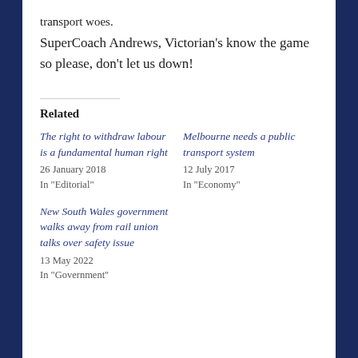transport woes.
SuperCoach Andrews, Victorian's know the game so please, don't let us down!
Related
The right to withdraw labour is a fundamental human right
26 January 2018
In "Editorial"
Melbourne needs a public transport system
12 July 2017
In "Economy"
New South Wales government walks away from rail union talks over safety issue
13 May 2022
In "Government"